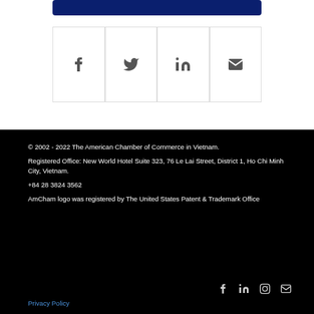[Figure (other): Blue rounded bar at top (share/button bar)]
[Figure (other): Row of four social share icon boxes: Facebook (f), Twitter (bird), LinkedIn (in), Email (envelope)]
© 2002 - 2022 The American Chamber of Commerce in Vietnam.

Registered Office: New World Hotel Suite 323, 76 Le Lai Street, District 1, Ho Chi Minh City, Vietnam.

+84 28 3824 3562

AmCham logo was registered by The United States Patent & Trademark Office
Privacy Policy